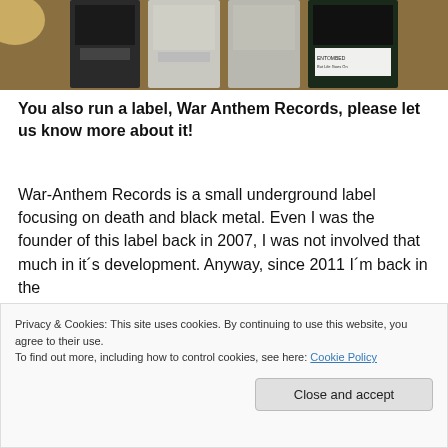[Figure (photo): Photo of several cassette tapes/cases displayed side by side. Visible labels include Entombed 'But Life Goes On' and other metal band tapes. Warm yellow-brown tinted background.]
You also run a label, War Anthem Records, please let us know more about it!
War-Anthem Records is a small underground label focusing on death and black metal. Even I was the founder of this label back in 2007, I was not involved that much in it´s development. Anyway, since 2011 I´m back in the
Privacy & Cookies: This site uses cookies. By continuing to use this website, you agree to their use.
To find out more, including how to control cookies, see here: Cookie Policy